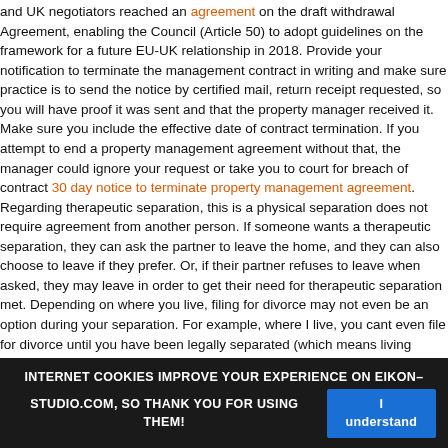and UK negotiators reached an agreement on the draft withdrawal Agreement, enabling the Council (Article 50) to adopt guidelines on the framework for a future EU-UK relationship in 2018. Provide your notification to terminate the management contract in writing and make sure practice is to send the notice by certified mail, return receipt requested, so you will have proof it was sent and that the property manager received it. Make sure you include the effective date of contract termination. If you attempt to end a property management agreement without that, the manager could ignore your request or take you to court for breach of contract 30 day notice to terminate property management agreement. Regarding therapeutic separation, this is a physical separation does not require agreement from another person. If someone wants a therapeutic separation, they can ask the partner to leave the home, and they can also choose to leave if they prefer. Or, if their partner refuses to leave when asked, they may leave in order to get their need for therapeutic separation met. Depending on where you live, filing for divorce may not even be an option during your separation. For example, where I live, you cant even file for divorce until you have been legally separated (which means living apart) for a year. The couple should decide whether and how the vacating partner will access the couples home during the separation https://www.lapigne.fr/2021/04/10/healing-separation-agreement-template/. The tenancy agreement template is a kind of tenancy agreement form where the landlord and the tenant agrees on a contract. The template is expected to record everything that the tenant and landlord have agreed about the tenancy. It is important to note that every tenancy agreement must be written and a copy given to the tenant before the tenancy begins. There are a lot of tenancy agreement templates that can be used by the landlord and tenant. These templates can be downloaded and edited to suit your own situation. Regardless of transfer credit (from college courses, AP, IB, CLEP exam), all incoming Freshmen are required to take the English and Math placement t
INTERNET COOKIES IMPROVE YOUR EXPERIENCE ON EIKON-STUDIO.COM, SO THANK YOU FOR USING THEM! I understand